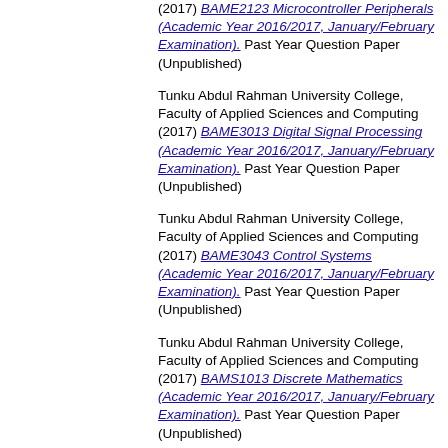Tunku Abdul Rahman University College, Faculty of Applied Sciences and Computing (2017) BAME2123 Microcontroller Peripherals (Academic Year 2016/2017, January/February Examination). Past Year Question Paper (Unpublished)
Tunku Abdul Rahman University College, Faculty of Applied Sciences and Computing (2017) BAME3013 Digital Signal Processing (Academic Year 2016/2017, January/February Examination). Past Year Question Paper (Unpublished)
Tunku Abdul Rahman University College, Faculty of Applied Sciences and Computing (2017) BAME3043 Control Systems (Academic Year 2016/2017, January/February Examination). Past Year Question Paper (Unpublished)
Tunku Abdul Rahman University College, Faculty of Applied Sciences and Computing (2017) BAMS1013 Discrete Mathematics (Academic Year 2016/2017, January/February Examination). Past Year Question Paper (Unpublished)
Tunku Abdul Rahman University College, Faculty of Applied Sciences and Computing (2017) BAMS1023 Calculus I (Academic Year 2016/2017, January/February Examination). Past Year Question Paper (Unpublished)